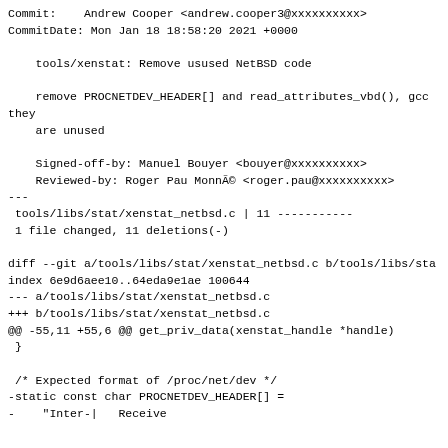Commit:    Andrew Cooper <andrew.cooper3@xxxxxxxxxx>
CommitDate: Mon Jan 18 18:58:20 2021 +0000

    tools/xenstat: Remove usused NetBSD code

    remove PROCNETDEV_HEADER[] and read_attributes_vbd(), gcc
they
    are unused

    Signed-off-by: Manuel Bouyer <bouyer@xxxxxxxxxx>
    Reviewed-by: Roger Pau Monné <roger.pau@xxxxxxxxxx>
---
 tools/libs/stat/xenstat_netbsd.c | 11 -----------
 1 file changed, 11 deletions(-)

diff --git a/tools/libs/stat/xenstat_netbsd.c b/tools/libs/sta
index 6e9d6aee10..64eda9e1ae 100644
--- a/tools/libs/stat/xenstat_netbsd.c
+++ b/tools/libs/stat/xenstat_netbsd.c
@@ -55,11 +55,6 @@ get_priv_data(xenstat_handle *handle)
 }

 /* Expected format of /proc/net/dev */
-static const char PROCNETDEV_HEADER[] =
-    "Inter-|   Receive